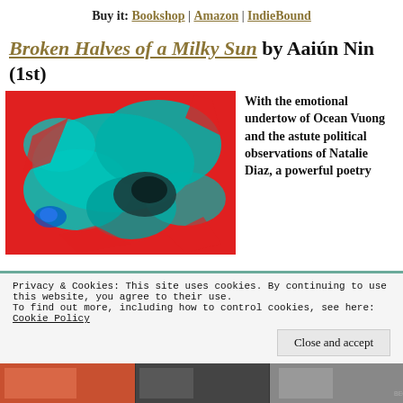Buy it: Bookshop | Amazon | IndieBound
Broken Halves of a Milky Sun by Aaiún Nin (1st)
[Figure (photo): Abstract painting with red and teal/turquoise colors in an irregular blotchy pattern]
With the emotional undertow of Ocean Vuong and the astute political observations of Natalie Diaz, a powerful poetry
Privacy & Cookies: This site uses cookies. By continuing to use this website, you agree to their use. To find out more, including how to control cookies, see here: Cookie Policy
Close and accept